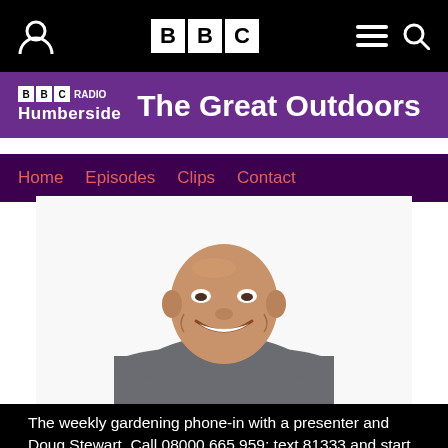BBC Radio Humberside – The Great Outdoors
Home
Episodes
Clips
Contact
[Figure (photo): A smiling bald man wearing a grey knit sweater, photographed against a white background.]
The weekly gardening phone-in with a presenter and Doug Stewart. Call 08000 665 959; text 81333 and start with RH...